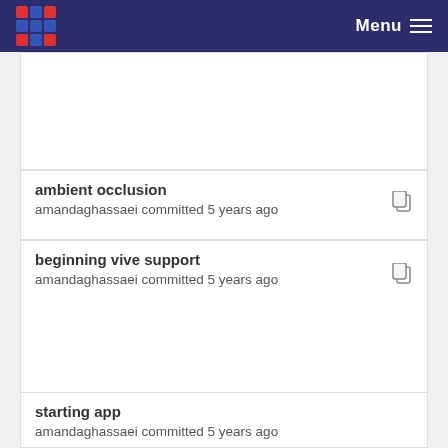Menu
ambient occlusion
amandaghassaei committed 5 years ago
beginning vive support
amandaghassaei committed 5 years ago
small changes
amandaghassaei committed 5 years ago
starting app
amandaghassaei committed 5 years ago